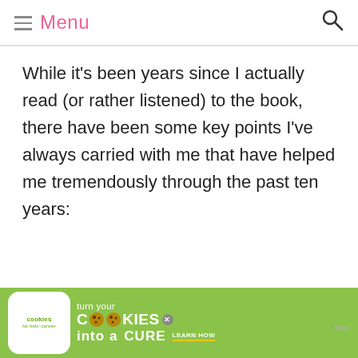Menu
While it's been years since I actually read (or rather listened) to the book, there have been some key points I've always carried with me that have helped me tremendously through the past ten years:
[Figure (screenshot): Advertisement banner: cookies for kids cancer — turn your COOKIES into a CURE LEARN HOW]